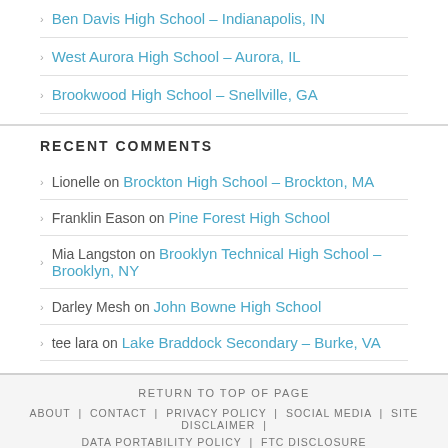Ben Davis High School – Indianapolis, IN
West Aurora High School – Aurora, IL
Brookwood High School – Snellville, GA
RECENT COMMENTS
Lionelle on Brockton High School – Brockton, MA
Franklin Eason on Pine Forest High School
Mia Langston on Brooklyn Technical High School – Brooklyn, NY
Darley Mesh on John Bowne High School
tee lara on Lake Braddock Secondary – Burke, VA
RETURN TO TOP OF PAGE | ABOUT | CONTACT | PRIVACY POLICY | SOCIAL MEDIA | SITE DISCLAIMER | DATA PORTABILITY POLICY | FTC DISCLOSURE